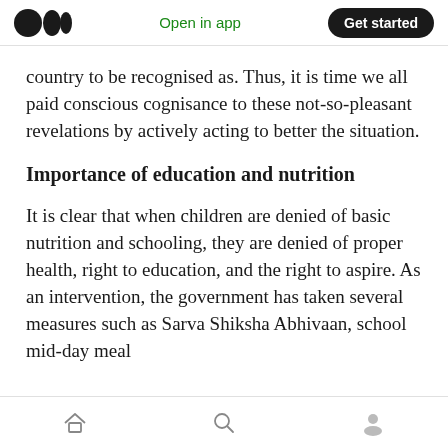Open in app  Get started
country to be recognised as. Thus, it is time we all paid conscious cognisance to these not-so-pleasant revelations by actively acting to better the situation.
Importance of education and nutrition
It is clear that when children are denied of basic nutrition and schooling, they are denied of proper health, right to education, and the right to aspire. As an intervention, the government has taken several measures such as Sarva Shiksha Abhivaan, school mid-day meal
Home  Search  Profile